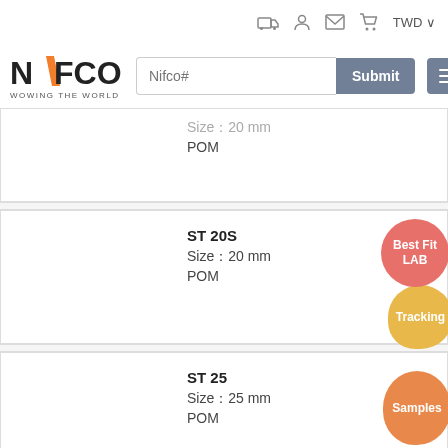[Figure (logo): NIFCO logo with orange N and text WOWING THE WORLD]
Nifco# Submit TWD navigation header
Size：20 mm
POM
ST 20S
Size：20 mm
POM
ST 25
Size：25 mm
POM
ST 25S